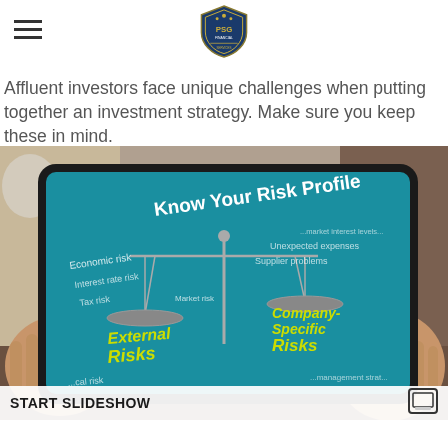[Figure (logo): PSG shield/crest logo in blue and gold]
Affluent investors face unique challenges when putting together an investment strategy. Make sure you keep these in mind.
[Figure (photo): Person holding a tablet displaying an infographic titled 'Know Your Risk Profile' showing a balance scale with 'External Risks' on the left and 'Company-Specific Risks' on the right, with various risk types labeled such as Economic risk, Interest rate risk, Tax risk, Supplier problems, Unexpected expenses.]
START SLIDESHOW